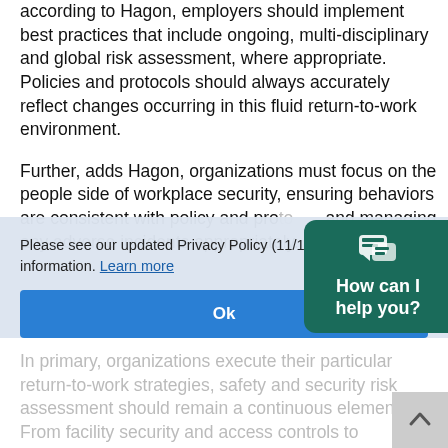according to Hagon, employers should implement best practices that include ongoing, multi-disciplinary and global risk assessment, where appropriate. Policies and protocols should always accurately reflect changes occurring in this fluid return-to-work environment.
Further, adds Hagon, organizations must focus on the people side of workplace security, ensuring behaviors are consistent with policy and protocol, and managing any adverse incidents appropriately.
[Figure (other): Chat support widget with teal background showing speech bubble icon and text 'How can I help you?']
In primary, organizations execute their particular return-to-work strategies, safety and security risk assessment should remain a continuous element. From facility security and access controls to incident prevention and response, employers should be considering the value of safety and security risk assessments to
Please see our updated Privacy Policy (11/13/19) for more information. Learn more
Ok